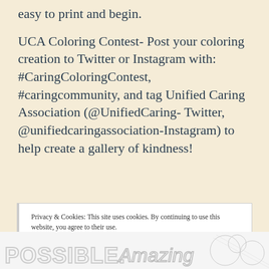easy to print and begin.
UCA Coloring Contest- Post your coloring creation to Twitter or Instagram with: #CaringColoringContest, #caringcommunity, and tag Unified Caring Association (@UnifiedCaring- Twitter, @unifiedcaringassociation-Instagram) to help create a gallery of kindness!
Privacy & Cookies: This site uses cookies. By continuing to use this website, you agree to their use.
To find out more, including how to control cookies, see here: Cookie Policy
Close and accept
[Figure (illustration): Bottom strip showing coloring book style text images with words POSSIBLE, Amazing, and decorative patterns in outline style.]